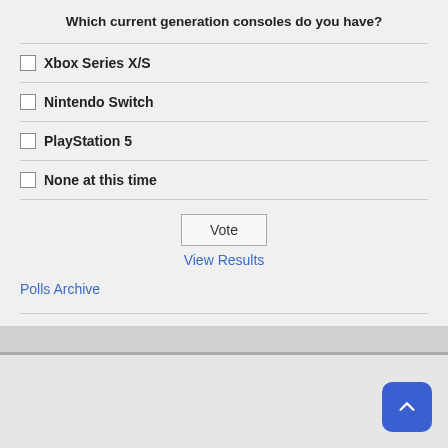Which current generation consoles do you have?
Xbox Series X/S
Nintendo Switch
PlayStation 5
None at this time
Vote
View Results
Polls Archive